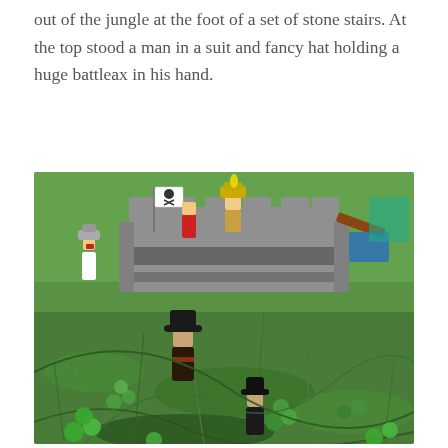out of the jungle at the foot of a set of stone stairs. At the top stood a man in a suit and fancy hat holding a huge battleax in his hand.
[Figure (photo): Photograph of LEGO minifigures arranged in grass/clover. In the background is a gray LEGO castle/fort with a skull-and-crossbones flag, a yellow minifigure in a white outfit on the left, and a minifigure with a yellow hat standing on top of the castle. In the foreground are two minifigures in dark clothing with black hats, set among green grass and clover leaves.]